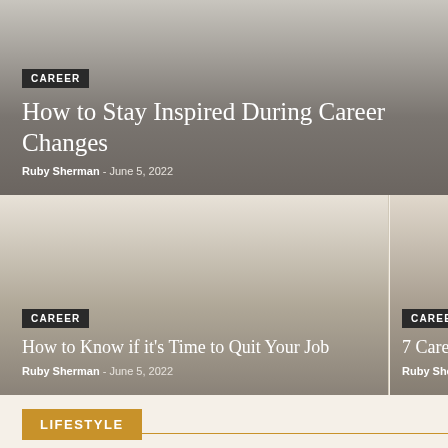[Figure (photo): Hero card with gradient background (light gray to dark gray/brown), showing career article preview]
CAREER
How to Stay Inspired During Career Changes
Ruby Sherman  -  June 5, 2022
[Figure (photo): Left card with gradient background showing career article preview]
CAREER
How to Know if it's Time to Quit Your Job
Ruby Sherman  -  June 5, 2022
[Figure (photo): Right card (partially visible) with gradient background showing career article preview]
CAREER
7 Career T
Ruby Sherman
LIFESTYLE